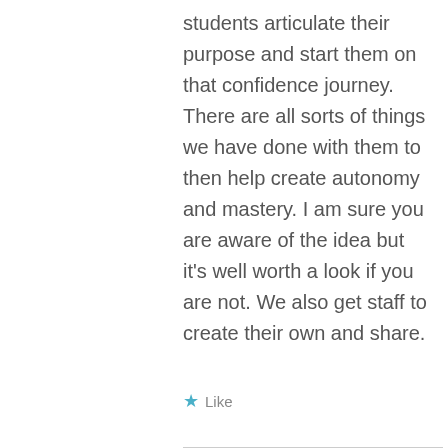students articulate their purpose and start them on that confidence journey. There are all sorts of things we have done with them to then help create autonomy and mastery. I am sure you are aware of the idea but it's well worth a look if you are not. We also get staff to create their own and share.
Like